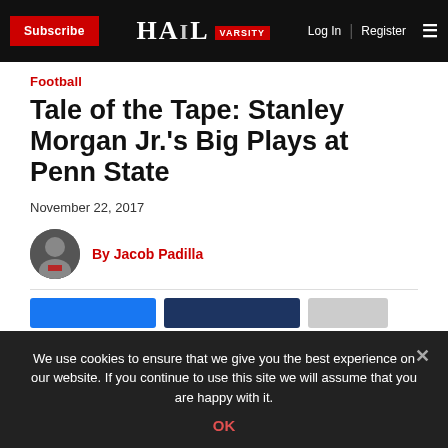Subscribe | HAIL VARSITY | Log In | Register
Football
Tale of the Tape: Stanley Morgan Jr.'s Big Plays at Penn State
November 22, 2017
By Jacob Padilla
We use cookies to ensure that we give you the best experience on our website. If you continue to use this site we will assume that you are happy with it.
OK